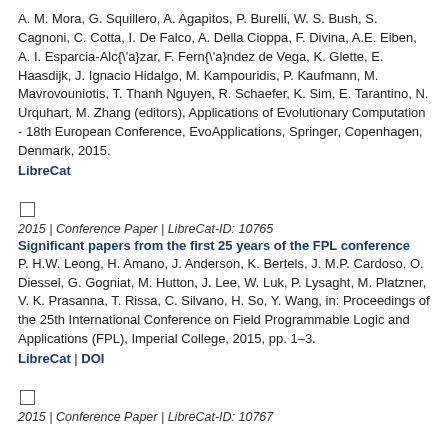A. M. Mora, G. Squillero, A. Agapitos, P. Burelli, W. S. Bush, S. Cagnoni, C. Cotta, I. De Falco, A. Della Cioppa, F. Divina, A.E. Eiben, A. I. Esparcia-Alc{\'a}zar, F. Fern{\'a}ndez de Vega, K. Glette, E. Haasdijk, J. Ignacio Hidalgo, M. Kampouridis, P. Kaufmann, M. Mavrovouniotis, T. Thanh Nguyen, R. Schaefer, K. Sim, E. Tarantino, N. Urquhart, M. Zhang (editors), Applications of Evolutionary Computation - 18th European Conference, EvoApplications, Springer, Copenhagen, Denmark, 2015.
LibreCat
2015 | Conference Paper | LibreCat-ID: 10765
Significant papers from the first 25 years of the FPL conference
P. H.W. Leong, H. Amano, J. Anderson, K. Bertels, J. M.P. Cardoso, O. Diessel, G. Gogniat, M. Hutton, J. Lee, W. Luk, P. Lysaght, M. Platzner, V. K. Prasanna, T. Rissa, C. Silvano, H. So, Y. Wang, in: Proceedings of the 25th International Conference on Field Programmable Logic and Applications (FPL), Imperial College, 2015, pp. 1–3.
LibreCat | DOI
2015 | Conference Paper | LibreCat-ID: 10767